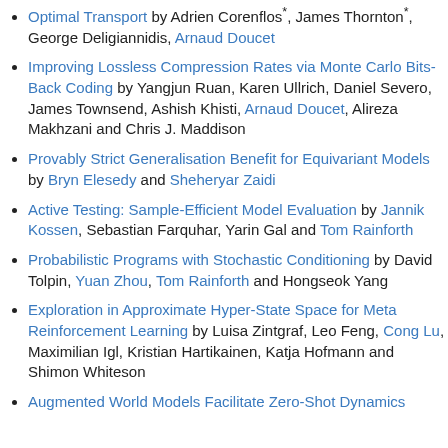Optimal Transport by Adrien Corenflos*, James Thornton*, George Deligiannidis, Arnaud Doucet
Improving Lossless Compression Rates via Monte Carlo Bits-Back Coding by Yangjun Ruan, Karen Ullrich, Daniel Severo, James Townsend, Ashish Khisti, Arnaud Doucet, Alireza Makhzani and Chris J. Maddison
Provably Strict Generalisation Benefit for Equivariant Models by Bryn Elesedy and Sheheryar Zaidi
Active Testing: Sample-Efficient Model Evaluation by Jannik Kossen, Sebastian Farquhar, Yarin Gal and Tom Rainforth
Probabilistic Programs with Stochastic Conditioning by David Tolpin, Yuan Zhou, Tom Rainforth and Hongseok Yang
Exploration in Approximate Hyper-State Space for Meta Reinforcement Learning by Luisa Zintgraf, Leo Feng, Cong Lu, Maximilian Igl, Kristian Hartikainen, Katja Hofmann and Shimon Whiteson
Augmented World Models Facilitate Zero-Shot Dynamics